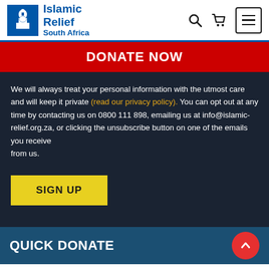Islamic Relief South Africa
DONATE NOW
We will always treat your personal information with the utmost care and will keep it private (read our privacy policy). You can opt out at any time by contacting us on 0800 111 898, emailing us at info@islamic-relief.org.za, or clicking the unsubscribe button on one of the emails you receive from us.
SIGN UP
QUICK DONATE